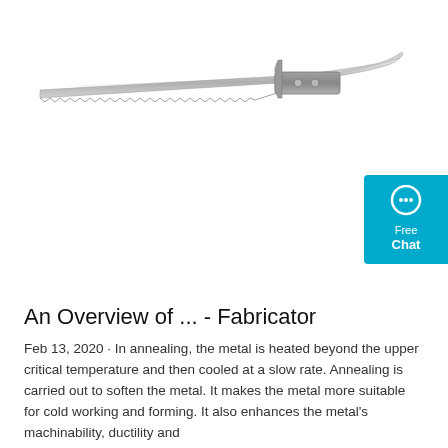[Figure (photo): A silver/stainless steel knife with a long blade and serrated edge along the bottom, curved tip, and decorative handle with rivets, shown in profile against a white background.]
[Figure (other): A teal/cyan colored chat widget button with a speech bubble icon, showing 'Free Chat' text.]
An Overview of ... - Fabricator
Feb 13, 2020 · In annealing, the metal is heated beyond the upper critical temperature and then cooled at a slow rate. Annealing is carried out to soften the metal. It makes the metal more suitable for cold working and forming. It also enhances the metal's machinability, ductility and